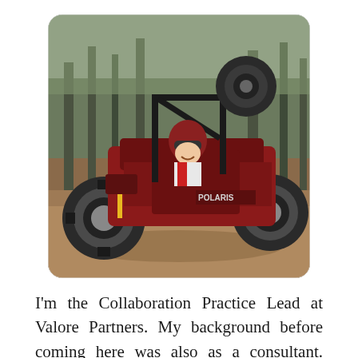[Figure (photo): Person sitting in a red and black Polaris RZR off-road side-by-side UTV vehicle in a wooded area with pine trees. The driver is smiling and wearing a helmet. The vehicle is muddy and parked on a dirt trail.]
I'm the Collaboration Practice Lead at Valore Partners. My background before coming here was also as a consultant. Right now I'm